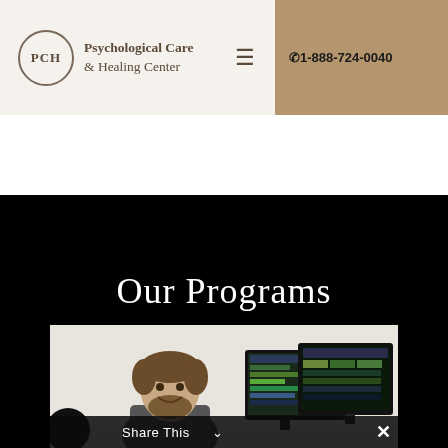Psychology, McGill University, Montreal, Que...
[Figure (logo): PCH circular logo with text Psychological Care & Healing Center]
☎ 1-888-724-0040
Our Programs
[Figure (photo): Man smiling in front of computer monitors showing data/analytics software, with a Share This bar at bottom]